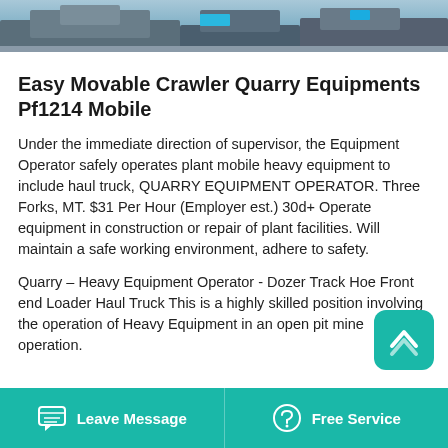[Figure (photo): Industrial quarry equipment/machinery photograph at the top of the page]
Easy Movable Crawler Quarry Equipments Pf1214 Mobile
Under the immediate direction of supervisor, the Equipment Operator safely operates plant mobile heavy equipment to include haul truck, QUARRY EQUIPMENT OPERATOR. Three Forks, MT. $31 Per Hour (Employer est.) 30d+ Operate equipment in construction or repair of plant facilities. Will maintain a safe working environment, adhere to safety.
Quarry – Heavy Equipment Operator - Dozer Track Hoe Front end Loader Haul Truck This is a highly skilled position involving the operation of Heavy Equipment in an open pit mine operation.
Leave Message   Free Service